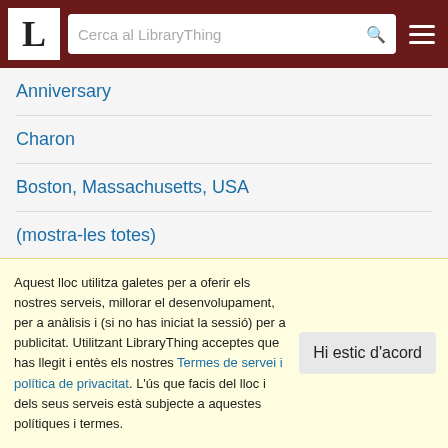LibraryThing — Cerca al LibraryThing
Anniversary
Charon
Boston, Massachusetts, USA
(mostra-les totes)
Esdeveniments importants
Elite Conscription Act
Aquest lloc utilitza galetes per a oferir els nostres serveis, millorar el desenvolupament, per a anàlisis i (si no has iniciat la sessió) per a publicitat. Utilitzant LibraryThing acceptes que has llegit i entès els nostres Termes de servei i política de privacitat. L'ús que facis del lloc i dels seus serveis està subjecte a aquestes polítiques i termes.